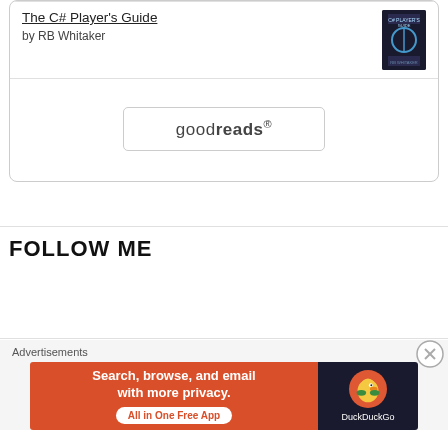The C# Player's Guide
by RB Whitaker
[Figure (screenshot): Goodreads widget button with rounded rectangle border]
FOLLOW ME
Advertisements
[Figure (screenshot): DuckDuckGo advertisement banner: Search, browse, and email with more privacy. All in One Free App. DuckDuckGo logo on dark background.]